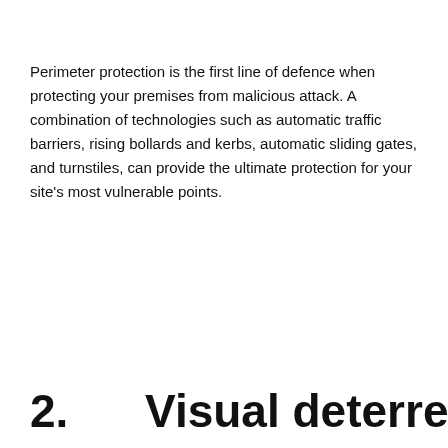Perimeter protection is the first line of defence when protecting your premises from malicious attack. A combination of technologies such as automatic traffic barriers, rising bollards and kerbs, automatic sliding gates, and turnstiles, can provide the ultimate protection for your site's most vulnerable points.
2.      Visual deterrent